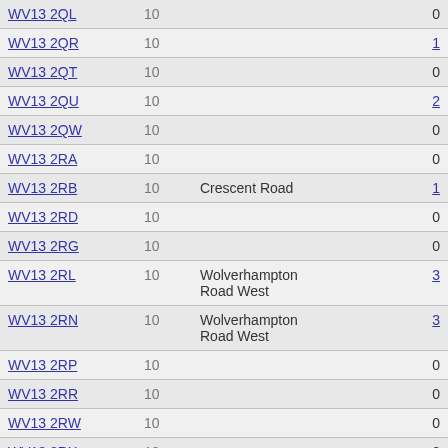| Postcode | Count | Street | Value |
| --- | --- | --- | --- |
| WV13 2QL | 10 |  | 0 |
| WV13 2QR | 10 |  | 1 |
| WV13 2QT | 10 |  | 0 |
| WV13 2QU | 10 |  | 2 |
| WV13 2QW | 10 |  | 0 |
| WV13 2RA | 10 |  | 0 |
| WV13 2RB | 10 | Crescent Road | 1 |
| WV13 2RD | 10 |  | 0 |
| WV13 2RG | 10 |  | 0 |
| WV13 2RL | 10 | Wolverhampton Road West | 3 |
| WV13 2RN | 10 | Wolverhampton Road West | 3 |
| WV13 2RP | 10 |  | 0 |
| WV13 2RR | 10 |  | 0 |
| WV13 2RW | 10 |  | 0 |
| WV13 2RX | 10 |  | 0 |
| WV13 2RY | 10 |  | 0 |